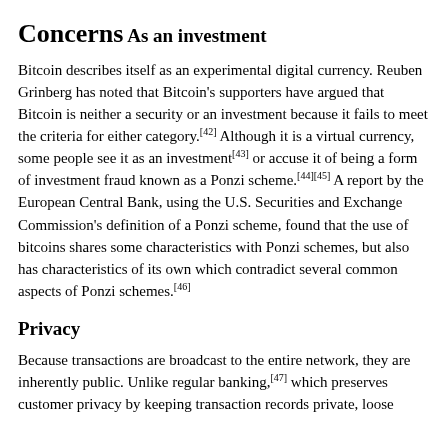Concerns
As an investment
Bitcoin describes itself as an experimental digital currency. Reuben Grinberg has noted that Bitcoin's supporters have argued that Bitcoin is neither a security or an investment because it fails to meet the criteria for either category.[42] Although it is a virtual currency, some people see it as an investment[43] or accuse it of being a form of investment fraud known as a Ponzi scheme.[44][45] A report by the European Central Bank, using the U.S. Securities and Exchange Commission's definition of a Ponzi scheme, found that the use of bitcoins shares some characteristics with Ponzi schemes, but also has characteristics of its own which contradict several common aspects of Ponzi schemes.[46]
Privacy
Because transactions are broadcast to the entire network, they are inherently public. Unlike regular banking,[47] which preserves customer privacy by keeping transaction records private, loose transaction data is published in Bitcoin's blockchain.